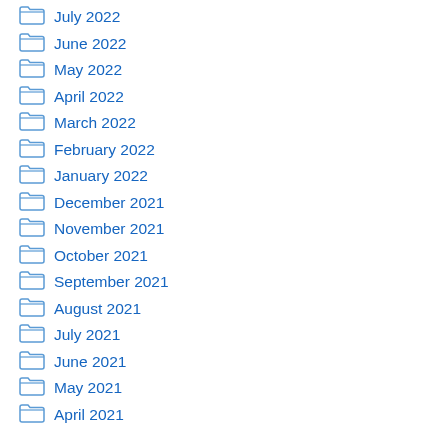July 2022
June 2022
May 2022
April 2022
March 2022
February 2022
January 2022
December 2021
November 2021
October 2021
September 2021
August 2021
July 2021
June 2021
May 2021
April 2021